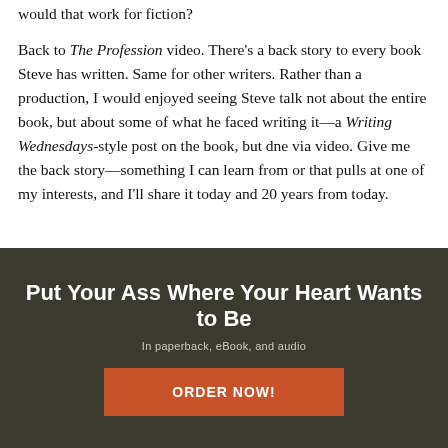would that work for fiction?
Back to The Profession video. There’s a back story to every book Steve has written. Same for other writers. Rather than a production, I would enjoyed seeing Steve talk not about the entire book, but about some of what he faced writing it—a Writing Wednesdays-style post on the book, but done via video. Give me the back story—something I can learn from or that pulls at one of my interests, and I’ll share it today and 20 years from today.
Put Your Ass Where Your Heart Wants to Be
In paperback, eBook, and audio
ORDER NOW!